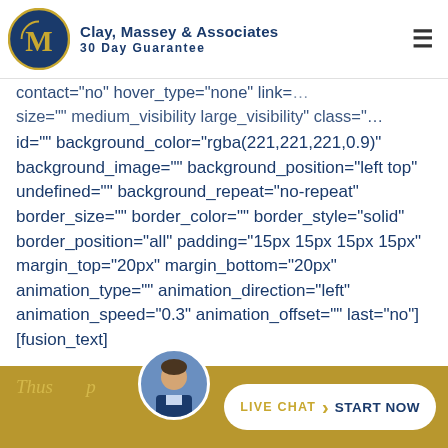[Figure (logo): Clay, Massey & Associates 30 Day Guarantee circular logo with M monogram in gold on navy blue background]
Clay, Massey & Associates 30 Day Guarantee
id="" background_color="rgba(221,221,221,0.9)" background_image="" background_position="left top" undefined="" background_repeat="no-repeat" border_size="" border_color="" border_style="solid" border_position="all" padding="15px 15px 15px 15px" margin_top="20px" margin_bottom="20px" animation_type="" animation_direction="left" animation_speed="0.3" animation_offset="" last="no"][fusion_text]
Thus… LIVE CHAT > START NOW